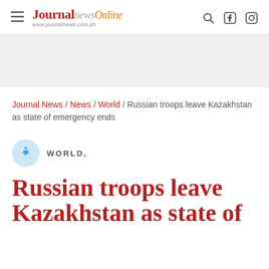Journal newsOnline — www.journalnews.com.ph
Journal News / News / World / Russian troops leave Kazakhstan as state of emergency ends
WORLD,
Russian troops leave Kazakhstan as state of